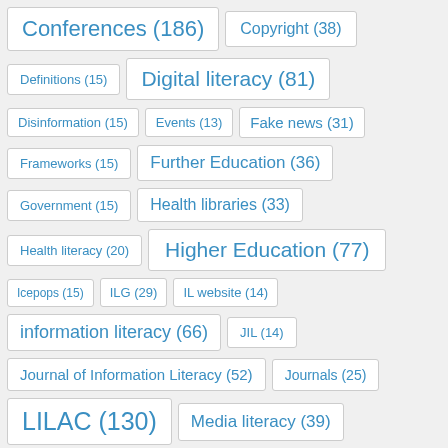Conferences (186)
Copyright (38)
Definitions (15)
Digital literacy (81)
Disinformation (15)
Events (13)
Fake news (31)
Frameworks (15)
Further Education (36)
Government (15)
Health libraries (33)
Health literacy (20)
Higher Education (77)
Icepops (15)
ILG (29)
IL website (14)
information literacy (66)
JIL (14)
Journal of Information Literacy (52)
Journals (25)
LILAC (130)
Media literacy (39)
Meet the committee (28)
Online teaching (18)